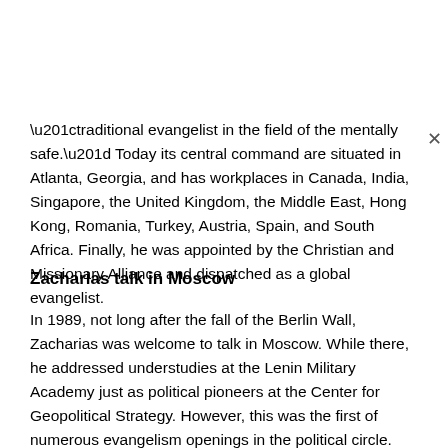“traditional evangelist in the field of the mentally safe.” Today its central command are situated in Atlanta, Georgia, and has workplaces in Canada, India, Singapore, the United Kingdom, the Middle East, Hong Kong, Romania, Turkey, Austria, Spain, and South Africa. Finally, he was appointed by the Christian and Missionary Alliance and dispatched as a global evangelist.
Zacharias talk in Moscow
In 1989, not long after the fall of the Berlin Wall, Zacharias was welcome to talk in Moscow. While there, he addressed understudies at the Lenin Military Academy just as political pioneers at the Center for Geopolitical Strategy. However, this was the first of numerous evangelism openings in the political circle. Afterwards, future occasions incorporated a solicitation to Bogota, Colombia in 1993. There, he addressed individuals